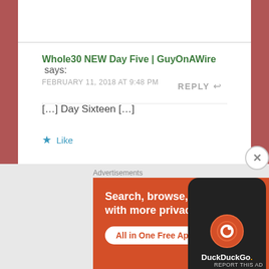Whole30 NEW Day Five | GuyOnAWire says:
FEBRUARY 11, 2018 AT 9:48 PM
[…] Day Sixteen […]
★ Like
REPLY ↩
Advertisements
[Figure (screenshot): DuckDuckGo advertisement banner with orange background showing 'Search, browse, and email with more privacy. All in One Free App' text and a phone mockup with DuckDuckGo logo]